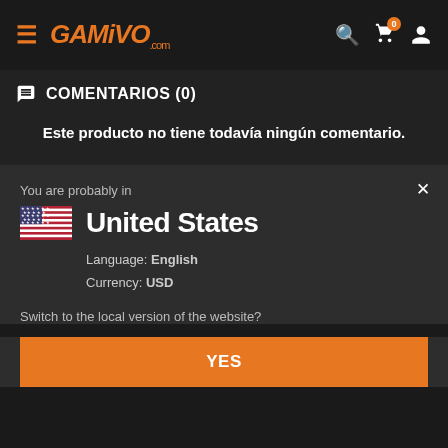GAMIVO.com — navigation bar with hamburger menu, search, cart (0), and user icons
COMENTARIOS (0)
Este producto no tiene todavía ningún comentario.
You are probably in
[Figure (illustration): US flag emoji followed by United States country name]
Language: English
Currency: USD
Switch to the local version of the website?
YES